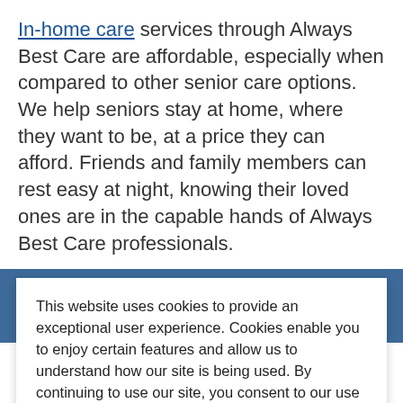In-home care services through Always Best Care are affordable, especially when compared to other senior care options. We help seniors stay at home, where they want to be, at a price they can afford. Friends and family members can rest easy at night, knowing their loved ones are in the capable hands of Always Best Care professionals.
Your free Always Best Care consultation can help you... safely from your recliner to the bathroom. Call to... something as trivial as cold meals or... shower prevents you from...
This website uses cookies to provide an exceptional user experience. Cookies enable you to enjoy certain features and allow us to understand how our site is being used. By continuing to use our site, you consent to our use of cookies.
Read more
Decline | Accept Cookies
The Always Best Care non-medical in-home care